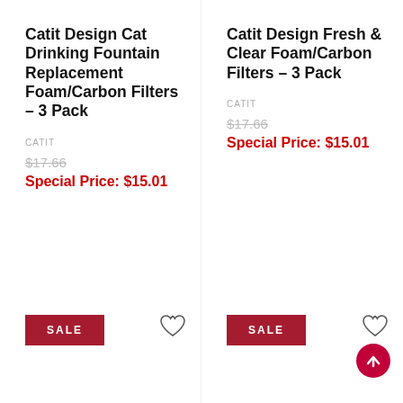Catit Design Cat Drinking Fountain Replacement Foam/Carbon Filters – 3 Pack
CATIT
$17.66
Special Price: $15.01
Catit Design Fresh & Clear Foam/Carbon Filters – 3 Pack
CATIT
$17.66
Special Price: $15.01
SALE
SALE